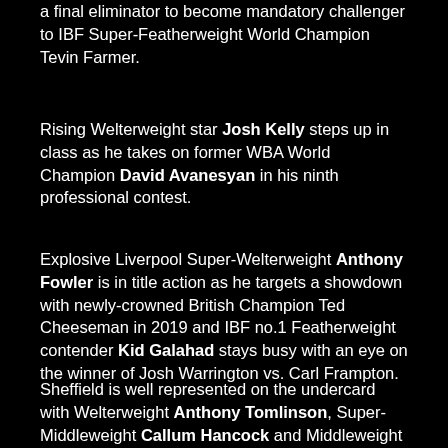a final eliminator to become mandatory challenger to IBF Super-Featherweight World Champion Tevin Farmer.
Rising Welterweight star Josh Kelly steps up in class as he takes on former WBA World Champion David Avanesyan in his ninth professional contest.
Explosive Liverpool Super-Welterweight Anthony Fowler is in title action as he targets a showdown with newly-crowned British Champion Ted Cheeseman in 2019 and IBF no.1 Featherweight contender Kid Galahad stays busy with an eye on the winner of Josh Warrington vs. Carl Frampton.
Sheffield is well represented on the undercard with Welterweight Anthony Tomlinson, Super-Middleweight Callum Hancock and Middleweight